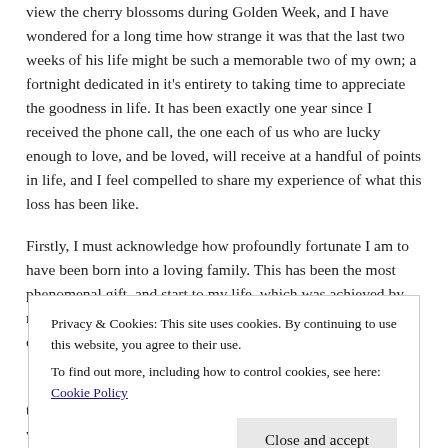view the cherry blossoms during Golden Week, and I have wondered for a long time how strange it was that the last two weeks of his life might be such a memorable two of my own; a fortnight dedicated in it's entirety to taking time to appreciate the goodness in life. It has been exactly one year since I received the phone call, the one each of us who are lucky enough to love, and be loved, will receive at a handful of points in life, and I feel compelled to share my experience of what this loss has been like.
Firstly, I must acknowledge how profoundly fortunate I am to have been born into a loving family. This has been the most phenomenal gift, and start to my life, which was achieved by no work of my own. I write on no one else's behalf, and draw on the
Privacy & Cookies: This site uses cookies. By continuing to use this website, you agree to their use.
To find out more, including how to control cookies, see here: Cookie Policy
Close and accept
to do so a year ago, and remember thinking how surreal it was...